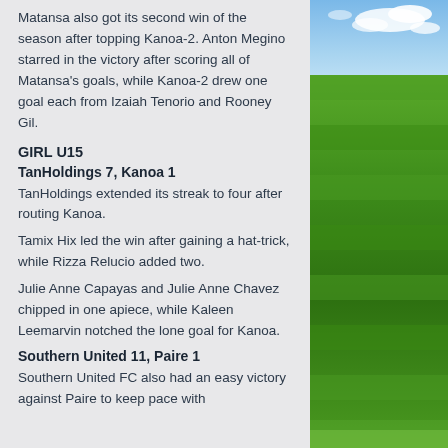Matansa also got its second win of the season after topping Kanoa-2. Anton Megino starred in the victory after scoring all of Matansa's goals, while Kanoa-2 drew one goal each from Izaiah Tenorio and Rooney Gil.
GIRL U15
TanHoldings 7, Kanoa 1
TanHoldings extended its streak to four after routing Kanoa.
Tamix Hix led the win after gaining a hat-trick, while Rizza Relucio added two.
Julie Anne Capayas and Julie Anne Chavez chipped in one apiece, while Kaleen Leemarvin notched the lone goal for Kanoa.
Southern United 11, Paire 1
Southern United FC also had an easy victory against Paire to keep pace with
[Figure (photo): Aerial or ground-level photograph of a green grass football/soccer field with blue sky and clouds in the upper right corner.]